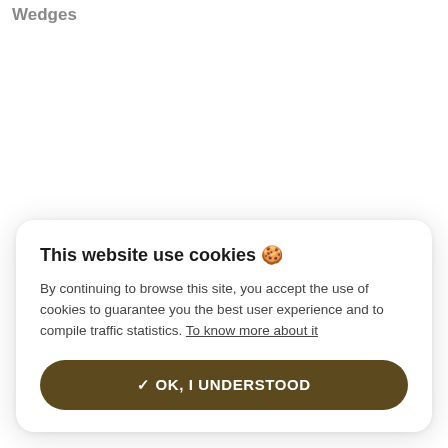Ground Scroll Wedges
This website use cookies 🍪
By continuing to browse this site, you accept the use of cookies to guarantee you the best user experience and to compile traffic statistics. To know more about it
✓ OK, I UNDERSTOOD